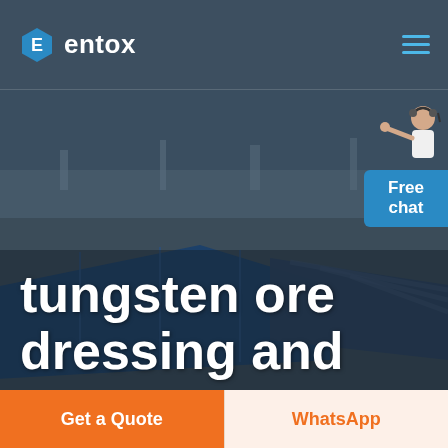[Figure (logo): Entox logo: hexagon icon with letter E and text 'entox' in white]
[Figure (photo): Aerial view of industrial facility with blue rooftop structures, overlaid with large white bold text reading 'tungsten ore dressing and']
[Figure (infographic): Free chat widget with person illustration and blue button labeled 'Free chat']
Get a Quote
WhatsApp